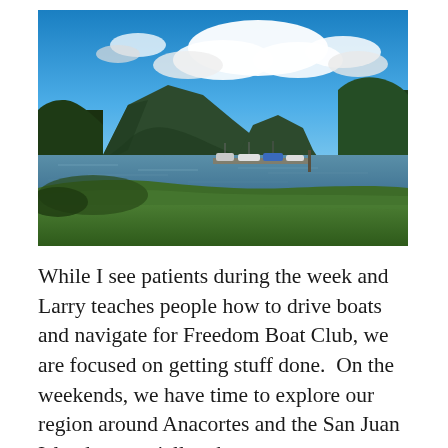[Figure (photo): Outdoor scenic photo of a coastal bay area with green grass in the foreground, boats docked at a small marina in the middle ground, a large forested mountain island across the water, and a partly cloudy blue sky above. Trees frame both sides of the image. The scene appears to be the Anacortes/San Juan Islands area of Washington State.]
While I see patients during the week and Larry teaches people how to drive boats and navigate for Freedom Boat Club, we are focused on getting stuff done.  On the weekends, we have time to explore our region around Anacortes and the San Juan Islands, especially when we